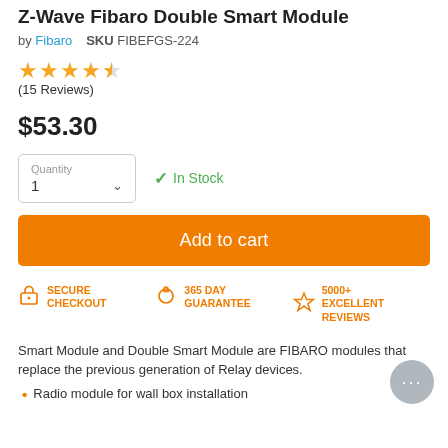Z-Wave Fibaro Double Smart Module
by Fibaro   SKU FIBEFGS-224
[Figure (other): 4.5 star rating (15 Reviews)]
(15 Reviews)
$53.30
Quantity 1 (dropdown)
✓ In Stock
Add to cart
SECURE CHECKOUT   365 DAY GUARANTEE   5000+ EXCELLENT REVIEWS
Smart Module and Double Smart Module are FIBARO modules that replace the previous generation of Relay devices.
Radio module for wall box installation